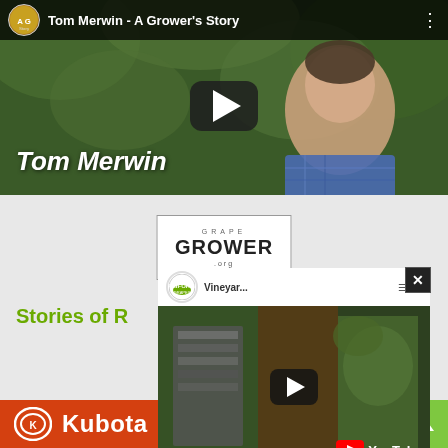[Figure (screenshot): YouTube video thumbnail for 'Tom Merwin - A Grower's Story' showing a man in a plaid shirt against green foliage background, with play button and YouTube-style top bar]
[Figure (logo): Grape Grower .org logo in a bordered box with 'GRAPE' above and '.org' below]
Stories of R...s
[Figure (screenshot): YouTube popup video player showing 'Vineyar...' channel by California Grapes, with play button and YouTube branding, with close (X) button]
[Figure (logo): Kubota logo on orange/red bar at bottom of page]
[Figure (other): Green scroll-to-top button with upward arrow at bottom right]